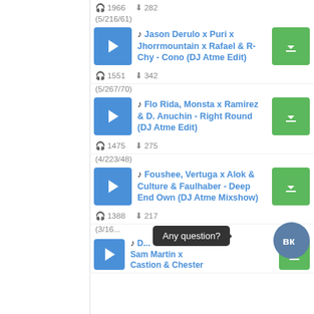🎧 1966  ⬇ 282
(5/216/61)
🎵 Jason Derulo x Puri x Jhorrmountain x Rafael & R-Chy - Cono (DJ Atme Edit)
🎧 1551  ⬇ 342
(5/267/70)
🎵 Flo Rida, Monsta x Ramirez & D. Anuchin - Right Round (DJ Atme Edit)
🎧 1475  ⬇ 275
(4/223/48)
🎵 Foushee, Vertuga x Alok & Culture & Faulhaber - Deep End Own (DJ Atme Mixshow)
🎧 1388  ⬇ 217
(3/16...
🎵 D... Sam Martin x Castion & Chester
Any question?